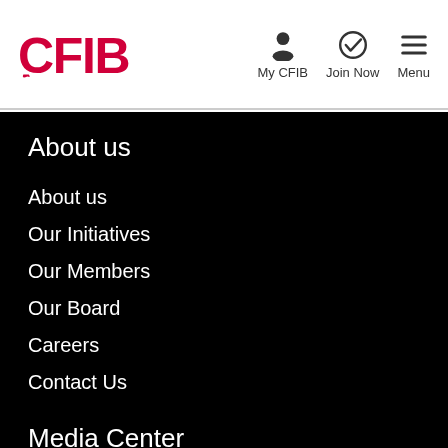CFIB | My CFIB | Join Now | Menu
About us
About us
Our Initiatives
Our Members
Our Board
Careers
Contact Us
Media Center
Press Releases
Commentaries
Our Representatives